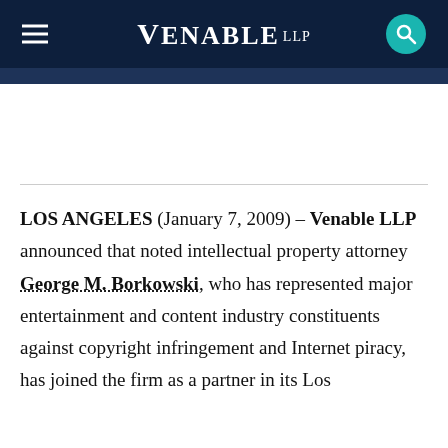VENABLE LLP
LOS ANGELES (January 7, 2009) – Venable LLP announced that noted intellectual property attorney George M. Borkowski, who has represented major entertainment and content industry constituents against copyright infringement and Internet piracy, has joined the firm as a partner in its Los